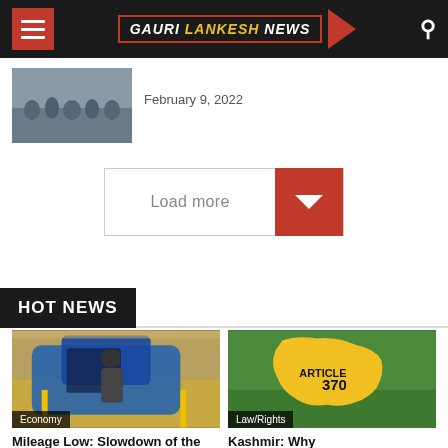Gauri Lankesh News
February 9, 2022
Load more
HOT NEWS
[Figure (photo): Worker inside a blue car frame on an assembly line]
Economy
Mileage Low: Slowdown of the Auto industry...
[Figure (photo): Yellow silhouette map of Kashmir region on green grass background with text ARTICLE 370]
Law/Rights
Kashmir: Why